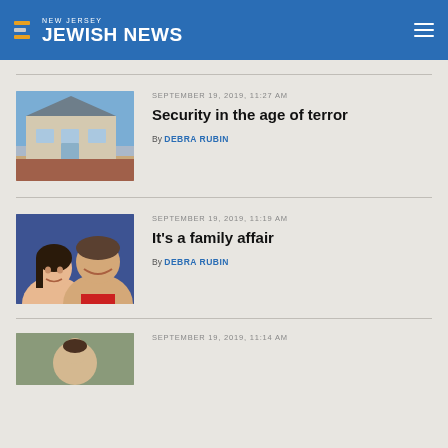NEW JERSEY JEWISH NEWS
SEPTEMBER 19, 2019, 11:27 AM
Security in the age of terror
By DEBRA RUBIN
[Figure (photo): Exterior of a building with brick facade, modern entrance, and parking lot]
SEPTEMBER 19, 2019, 11:19 AM
It's a family affair
By DEBRA RUBIN
[Figure (photo): Selfie photo of a young woman and an older man smiling]
SEPTEMBER 19, 2019, 11:14 AM
[Figure (photo): Partial photo visible at bottom of page]